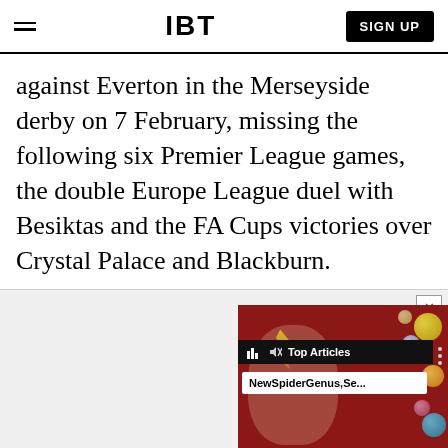IBT
against Everton in the Merseyside derby on 7 February, missing the following six Premier League games, the double Europe League duel with Besiktas and the FA Cups victories over Crystal Palace and Blackburn.
[Figure (screenshot): IBT Top Articles video thumbnail showing a face with colorful makeup (David Bowie style) on a red background with planet/sphere decorations. Overlay shows 'Top Articles' bar and 'NewSpiderGenus,Se...' subtitle. Close button (X) in top right corner. Advertisement label at bottom.]